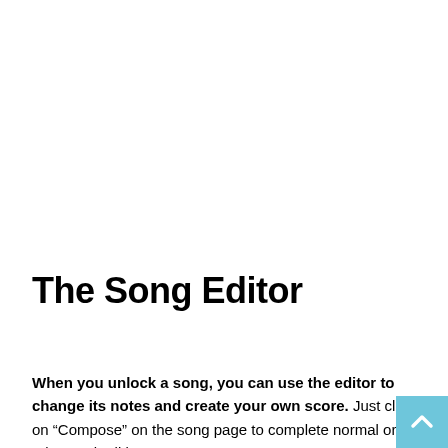The Song Editor
When you unlock a song, you can use the editor to change its notes and create your own score. Just click on “Compose” on the song page to complete normal or advanced editing.